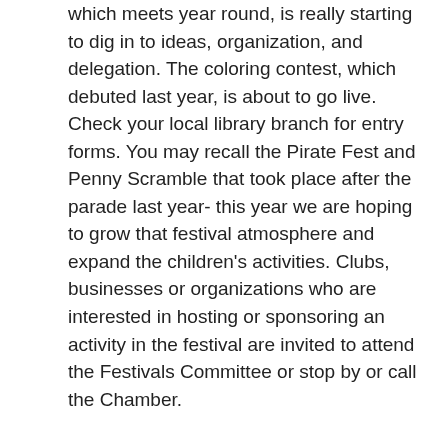which meets year round, is really starting to dig in to ideas, organization, and delegation. The coloring contest, which debuted last year, is about to go live. Check your local library branch for entry forms. You may recall the Pirate Fest and Penny Scramble that took place after the parade last year- this year we are hoping to grow that festival atmosphere and expand the children's activities. Clubs, businesses or organizations who are interested in hosting or sponsoring an activity in the festival are invited to attend the Festivals Committee or stop by or call the Chamber.
I also recently had the opportunity to attend the Mainstreet Quarterly Workshop in Cottage Grove. It is so fun to visit another community and see how they tackle some of the same challenges we look at here, and compare ideas and strategies. Mainstreet programs from all over the state were present. We